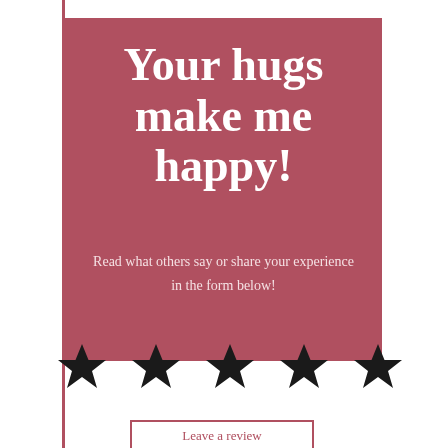Your hugs make me happy!
Read what others say or share your experience in the form below!
[Figure (infographic): Five black filled star icons in a horizontal row representing a 5-star rating]
Leave a review